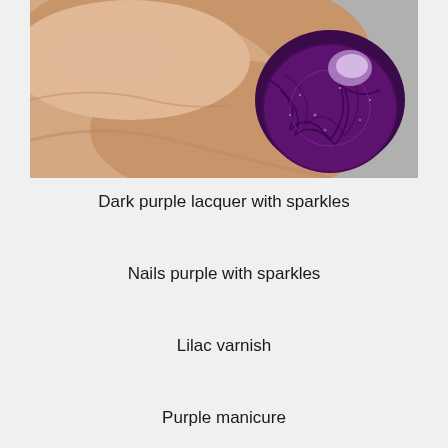[Figure (photo): Close-up photo of a hand with a fingernail painted in dark purple lacquer with sparkles/glitter. The thumbnail shows a deep violet/purple shimmer finish with a small clear accent at the top.]
Dark purple lacquer with sparkles
Nails purple with sparkles
Lilac varnish
Purple manicure